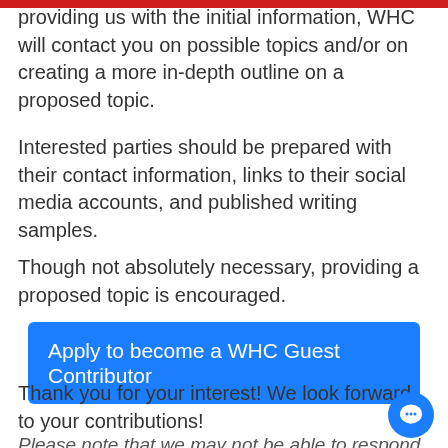providing us with the initial information, WHC will contact you on possible topics and/or on creating a more in-depth outline on a proposed topic.
Interested parties should be prepared with their contact information, links to their social media accounts, and published writing samples.
Though not absolutely necessary, providing a proposed topic is encouraged.
Apply to become a WHC Guest Contributor
Thank you for your interest! We look forward to your contributions!
Please note that we may not be able to respond to